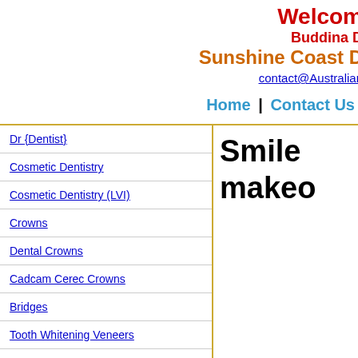Welcome Buddina D Sunshine Coast D contact@Australian
Home | Contact Us
Dr {Dentist}
Cosmetic Dentistry
Cosmetic Dentistry (LVI)
Crowns
Dental Crowns
Cadcam Cerec Crowns
Bridges
Tooth Whitening Veneers
Implants
Orthodontics Braces and More
Childrens Dentistry
Root Canal Treatment Endodontics
Smile makeo